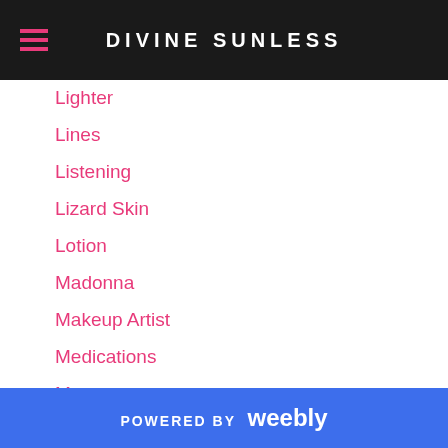DIVINE SUNLESS
Lighter
Lines
Listening
Lizard Skin
Lotion
Madonna
Makeup Artist
Medications
Menopause
Mobile
Mobile Spray Tanning
Mobile Sunless Tanning
Mom
Motto
Natural
POWERED BY weebly